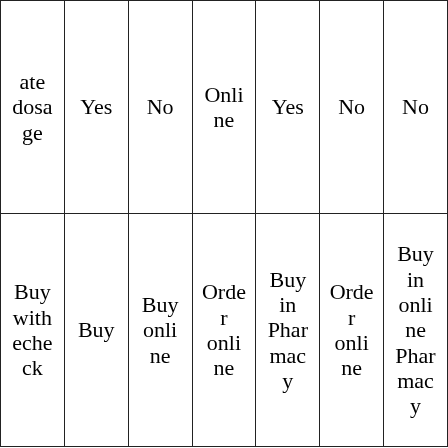| ate dosage | Yes | No | Online | Yes | No | No |
| Buy with echeck | Buy | Buy online | Order online | Buy in Pharmacy | Order online | Buy in online Pharmacy |